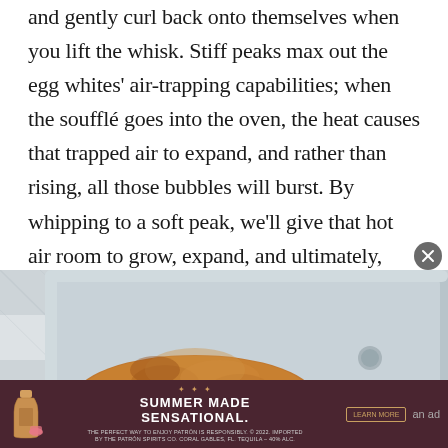and gently curl back onto themselves when you lift the whisk. Stiff peaks max out the egg whites' air-trapping capabilities; when the soufflé goes into the oven, the heat causes that trapped air to expand, and rather than rising, all those bubbles will burst. By whipping to a soft peak, we'll give that hot air room to grow, expand, and ultimately, rise.
[Figure (photo): Overhead photo of golden-brown baked soufflés in white ramekins sitting in a metal baking tray, on a checkered cloth background.]
[Figure (photo): Advertisement banner: dark maroon background with a Patrón tequila bottle illustration on the left, centered text reading 'SUMMER MADE SENSATIONAL.' with a 'LEARN MORE' button, and small legal disclaimer text at the bottom. Labeled 'an ad'.]